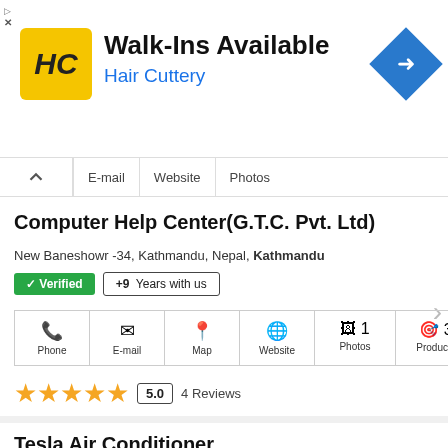[Figure (screenshot): Hair Cuttery advertisement banner with HC logo, 'Walk-Ins Available' title, 'Hair Cuttery' subtitle in blue, and blue diamond navigation arrow icon]
Computer Help Center(G.T.C. Pvt. Ltd)
New Baneshowr -34, Kathmandu, Nepal, Kathmandu
✓ Verified   +9 Years with us
Phone   E-mail   Map   Website   1 Photos   3 Products
5.0   4 Reviews
Tesla Air Conditioner
Saibaba Marg,Banasthali, Kathmandu
✓ Verified   +7 Years with us   ⚡ Updated